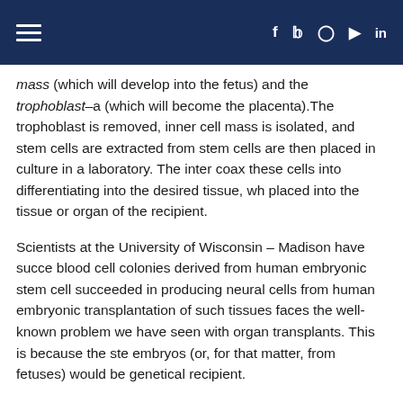Navigation bar with hamburger menu and social icons (Facebook, Twitter, Instagram, YouTube, LinkedIn)
mass (which will develop into the fetus) and the trophoblast–a (which will become the placenta).The trophoblast is removed, inner cell mass is isolated, and stem cells are extracted from stem cells are then placed in culture in a laboratory. The inter coax these cells into differentiating into the desired tissue, wh placed into the tissue or organ of the recipient.
Scientists at the University of Wisconsin – Madison have succe blood cell colonies derived from human embryonic stem cell succeeded in producing neural cells from human embryonic transplantation of such tissues faces the well-known problem we have seen with organ transplants. This is because the ste embryos (or, for that matter, from fetuses) would be genetic recipient.
One method for overcoming this problem which researchers
In a procedure known as "somatic cell nuclear transfer," an ov